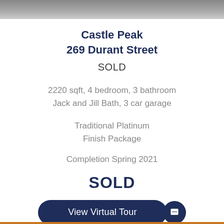[Figure (photo): Partial view of a property exterior photograph, cropped to a narrow strip at the top of the page]
Castle Peak
269 Durant Street
SOLD
2220 sqft, 4 bedroom, 3 bathroom
Jack and Jill Bath, 3 car garage
Traditional Platinum
Finish Package
Completion Spring 2021
SOLD
View Virtual Tour